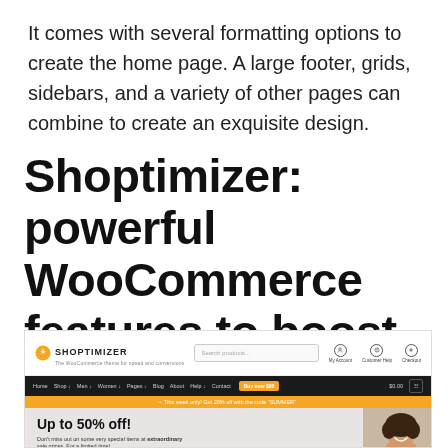It comes with several formatting options to create the home page. A large footer, grids, sidebars, and a variety of other pages can combine to create an exquisite design.
Shoptimizer: powerful WooCommerce features to boost an online store
[Figure (screenshot): Screenshot of the Shoptimizer WooCommerce theme showing the header with logo and search bar, dark navigation bar with menu items, yellow announcement bar, and hero section with 'Up to 50% off!' text and a woman with curly hair smiling.]